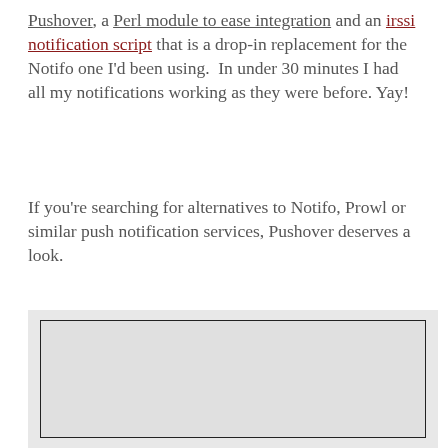Pushover, a Perl module to ease integration and an irssi notification script that is a drop-in replacement for the Notifo one I'd been using.  In under 30 minutes I had all my notifications working as they were before. Yay!
If you're searching for alternatives to Notifo, Prowl or similar push notification services, Pushover deserves a look.
[Figure (other): A gray rectangular image placeholder with a dark border, embedded in a light gray box]